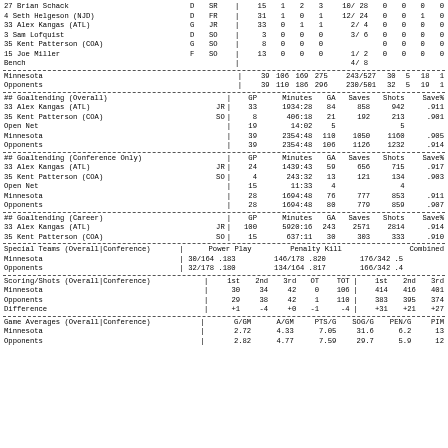| Player | Pos | Yr | | | GP | G | A | PTS | PM | PP | SH | GW | OT |
| --- | --- | --- | --- | --- | --- | --- | --- | --- | --- | --- | --- | --- |
| 27 Brian Schack | D | SR | | | 15 | 1 | 2 | 3 | 10/ 28 | 0 | 0 | 0 | 0 |
| 4 Seth Helgeson (NJD) | D | FR | | | 31 | 1 | 0 | 1 | 12/ 24 | 0 | 0 | 1 | 0 |
| 33 Alex Kangas (ATL) | G | JR | | | 33 | 0 | 1 | 1 | 2/ 4 | 0 | 0 | 0 | 0 |
| 3 Sam Lofquist | D | SO | | | 3 | 0 | 0 | 0 | 3/ 6 | 0 | 0 | 0 | 0 |
| 35 Kent Patterson (COA) | G | SO | | | 8 | 0 | 0 | 0 |  | 0 | 0 | 0 | 0 |
| 15 Joe Miller | F | SO | | | 13 | 0 | 0 | 0 | 1/ 2 | 0 | 0 | 0 | 0 |
| Bench |  |  | | |  |  |  |  | 4/ 8 |  |  |  |  |
| Team | | | GP | G | A | PTS | PM | PP | SH | GW | OT |
| --- | --- | --- | --- | --- | --- | --- | --- | --- | --- | --- |
| Minnesota | | | 39 | 106 | 169 | 275 | 243/527 | 30 | 5 | 18 | 1 |
| Opponents | | | 39 | 110 | 186 | 296 | 230/501 | 32 | 5 | 19 | 1 |
| Player/Team | Yr | | | GP | Minutes | GA | Saves | Shots | Save% |
| --- | --- | --- | --- | --- | --- | --- | --- | --- |
| ## Goaltending (Overall) |  | | | GP | Minutes | GA | Saves | Shots | Save% |
| 33 Alex Kangas (ATL) | JR | | | 33 | 1934:28 | 84 | 858 | 942 | .911 |
| 35 Kent Patterson (COA) | SO | | | 8 | 406:18 | 21 | 192 | 213 | .901 |
| Open Net |  | | | 19 | 14:02 | 5 |  | 5 |  |
| Minnesota |  | | | 39 | 2354:48 | 110 | 1050 | 1160 | .905 |
| Opponents |  | | | 39 | 2354:48 | 106 | 1126 | 1232 | .914 |
| Player/Team | Yr | | | GP | Minutes | GA | Saves | Shots | Save% |
| --- | --- | --- | --- | --- | --- | --- | --- | --- |
| ## Goaltending (Conference Only) |  | | | GP | Minutes | GA | Saves | Shots | Save% |
| 33 Alex Kangas (ATL) | JR | | | 24 | 1439:43 | 59 | 656 | 715 | .917 |
| 35 Kent Patterson (COA) | SO | | | 4 | 243:32 | 13 | 121 | 134 | .903 |
| Open Net |  | | | 15 | 11:33 | 4 |  | 4 |  |
| Minnesota |  | | | 28 | 1694:48 | 76 | 777 | 853 | .911 |
| Opponents |  | | | 28 | 1694:48 | 80 | 779 | 859 | .907 |
| Player/Team | Yr | | | GP | Minutes | GA | Saves | Shots | Save% |
| --- | --- | --- | --- | --- | --- | --- | --- | --- |
| ## Goaltending (Career) |  | | | GP | Minutes | GA | Saves | Shots | Save% |
| 33 Alex Kangas (ATL) | JR | | | 100 | 5920:16 | 243 | 2571 | 2814 | .914 |
| 35 Kent Patterson (COA) | SO | | | 15 | 637:11 | 30 | 303 | 333 | .910 |
| Team | | | Power Play | Penalty Kill | Combined |
| --- | --- | --- | --- | --- |
| Special Teams (Overall|Conference) | | | Power Play | Penalty Kill | Combined |
| Minnesota | | | 30/164 .183 | 146/178 .820 | 176/342 .5 |
| Opponents | | | 32/178 .180 | 134/164 .817 | 166/342 .4 |
| Team | | | 1st | 2nd | 3rd | OT | TOT | | | 1st | 2nd | 3rd |
| --- | --- | --- | --- | --- | --- | --- | --- | --- | --- | --- |
| Scoring/Shots (Overall|Conference) | | | 1st | 2nd | 3rd | OT | TOT | | | 1st | 2nd | 3rd |
| Minnesota | | | 30 | 34 | 42 | 0 | 106 | | | 414 | 416 | 401 |
| Opponents | | | 29 | 38 | 42 | 1 | 110 | | | 383 | 395 | 374 |
| Difference | | | +1 | -4 | +0 | -1 | -4 | | | +31 | +21 | +27 |
| Team | | | G/GM | A/GM | PTS/G | SOG/G | PEN/G | PIM |
| --- | --- | --- | --- | --- | --- | --- | --- |
| Game Averages (Overall|Conference) | | | G/GM | A/GM | PTS/G | SOG/G | PEN/G | PIM |
| Minnesota | | | 2.72 | 4.33 | 7.05 | 31.6 | 6.2 | 13 |
| Opponents | | | 2.82 | 4.77 | 7.59 | 29.7 | 5.9 | 12 |